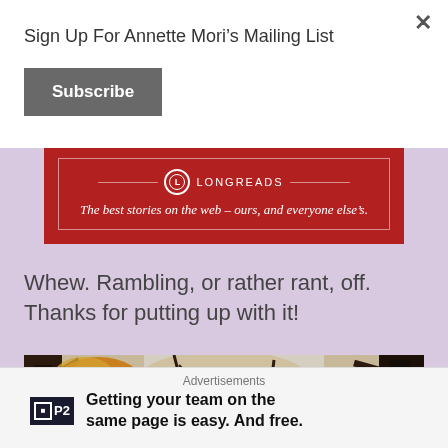Sign Up For Annette Mori’s Mailing List
Subscribe
[Figure (logo): Longreads banner: red background with Longreads logo and tagline 'The best stories on the web – ours, and everyone else’s.']
Whew. Rambling, or rather rant, off. Thanks for putting up with it!
[Figure (photo): Autumn trees with colorful leaves and bare branches against a light sky]
Advertisements
Getting your team on the same page is easy. And free.